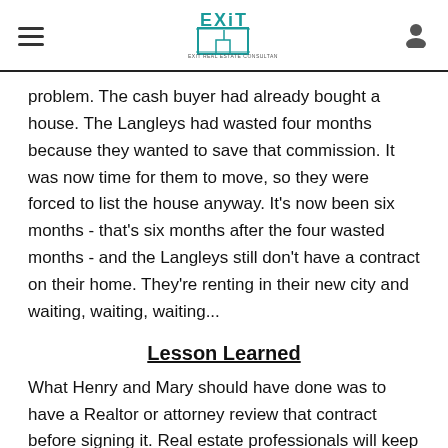EXIT Real Estate Consultants
problem. The cash buyer had already bought a house. The Langleys had wasted four months because they wanted to save that commission. It was now time for them to move, so they were forced to list the house anyway. It's now been six months - that's six months after the four wasted months - and the Langleys still don't have a contract on their home. They're renting in their new city and waiting, waiting, waiting...
Lesson Learned
What Henry and Mary should have done was to have a Realtor or attorney review that contract before signing it. Real estate professionals will keep you out of trouble. In this case a financing contingency clause would have permitted the Langley's to move forward immediately when the buyers' loan was turned down. They could then have sold their home